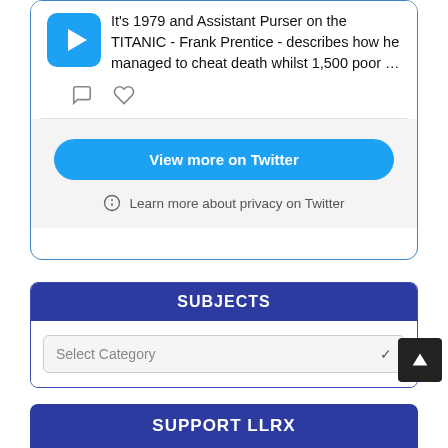[Figure (screenshot): Twitter/social media embed card showing a video thumbnail with a blue play button icon and tweet text: It's 1979 and Assistant Purser on the TITANIC - Frank Prentice - describes how he managed to cheat death whilst 1,500 poor ...]
[Figure (screenshot): Bottom of Twitter embed with 'View more on Twitter' blue pill button and 'Learn more about privacy on Twitter' text with info icon]
SUBJECTS
[Figure (screenshot): Select Category dropdown input]
SUPPORT LLRX